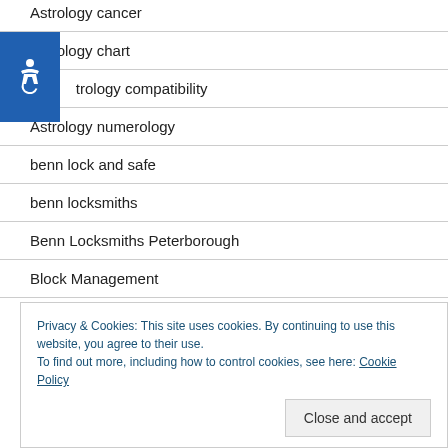Astrology cancer
Astrology chart
Astrology compatibility
Astrology numerology
benn lock and safe
benn locksmiths
Benn Locksmiths Peterborough
Block Management
Privacy & Cookies: This site uses cookies. By continuing to use this website, you agree to their use.
To find out more, including how to control cookies, see here: Cookie Policy